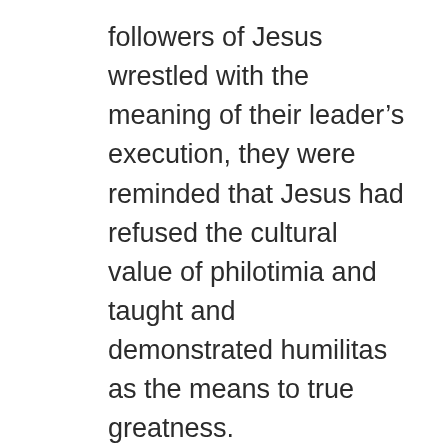followers of Jesus wrestled with the meaning of their leader's execution, they were reminded that Jesus had refused the cultural value of philotimia and taught and demonstrated humilitas as the means to true greatness.
Humility, not self-promotion, made it into the vocabulary of faith. For example, Paul used the verb form of philotimia in Rom 15:20 when he wrote that his “love of honor” was to preach the gospel where it was not yet known. In his second letter to the Corinthians (5:9), he wrote that they were to make their pleasing the Lord as